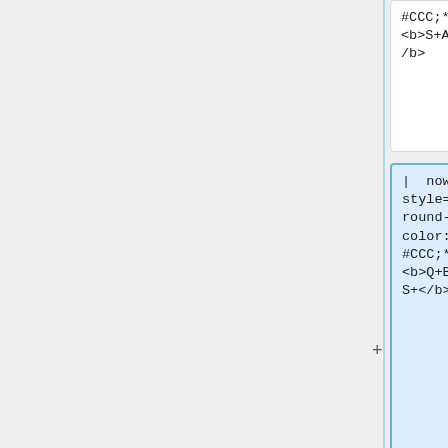#CCC;* " | <b>S+AO0005</b>
#CCC;* " | <b>S+AO0005</b>
| nowrap style="background-color: #CCC;* " | <b>Q+BC0003-S+</b>
|-
|-
| style="background-color: #CCC;font-weight: bold;" | CCR1072-1G-8S+
| style="background-color: #CCC;font-weight: bold;" | CCR1072-1G-8S+